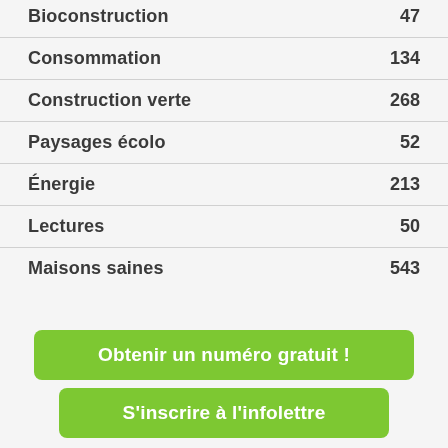Bioconstruction 47
Consommation 134
Construction verte 268
Paysages écolo 52
Énergie 213
Lectures 50
Maisons saines 543
Obtenir un numéro gratuit !
S'inscrire à l'infolettre